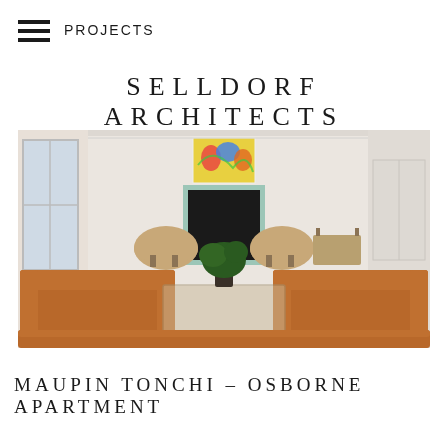PROJECTS
SELLDORF ARCHITECTS
[Figure (photo): Interior living room of the Maupin Tonchi – Osborne Apartment designed by Selldorf Architects. The room features orange/cognac leather sofas and chairs, a glass coffee table with a bonsai tree centerpiece, two round beige armchairs near a fireplace with colorful tiled surround, a vibrant abstract painting above the fireplace, large windows on the left, and white walls with decorative molding.]
MAUPIN TONCHI – OSBORNE APARTMENT